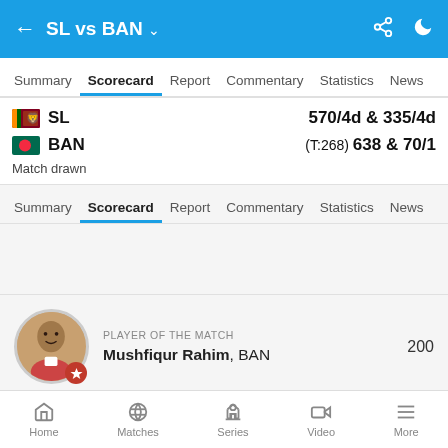SL vs BAN
Summary | Scorecard | Report | Commentary | Statistics | News
SL 570/4d & 335/4d
BAN (T:268) 638 & 70/1
Match drawn
Summary | Scorecard | Report | Commentary | Statistics | News
PLAYER OF THE MATCH
Mushfiqur Rahim, BAN  200
Home | Matches | Series | Video | More